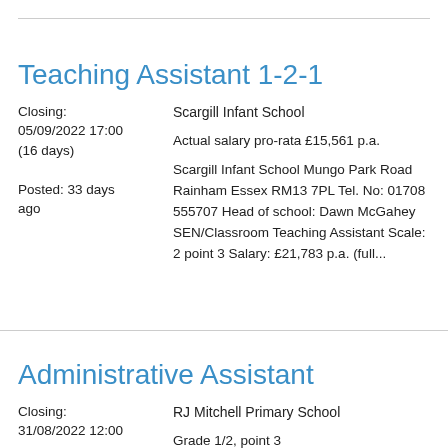Teaching Assistant 1-2-1
Closing: 05/09/2022 17:00 (16 days)

Posted: 33 days ago
Scargill Infant School

Actual salary pro-rata £15,561 p.a.

Scargill Infant School Mungo Park Road Rainham Essex RM13 7PL Tel. No: 01708 555707 Head of school: Dawn McGahey SEN/Classroom Teaching Assistant Scale: 2 point 3 Salary: £21,783 p.a. (full...
Administrative Assistant
Closing: 31/08/2022 12:00
RJ Mitchell Primary School

Grade 1/2, point 3